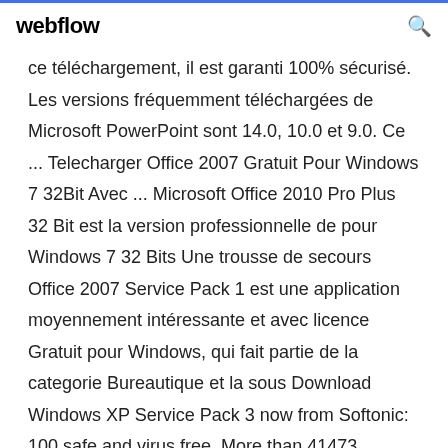webflow
ce téléchargement, il est garanti 100% sécurisé. Les versions fréquemment téléchargées de Microsoft PowerPoint sont 14.0, 10.0 et 9.0. Ce ... Telecharger Office 2007 Gratuit Pour Windows 7 32Bit Avec ... Microsoft Office 2010 Pro Plus 32 Bit est la version professionnelle de pour Windows 7 32 Bits Une trousse de secours Office 2007 Service Pack 1 est une application moyennement intéressante et avec licence Gratuit pour Windows, qui fait partie de la categorie Bureautique et la sous Download Windows XP Service Pack 3 now from Softonic: 100 safe and virus free. More than 41473 downloads this How to download MS office 2007 with key - YouTube 07/04/2017 ·